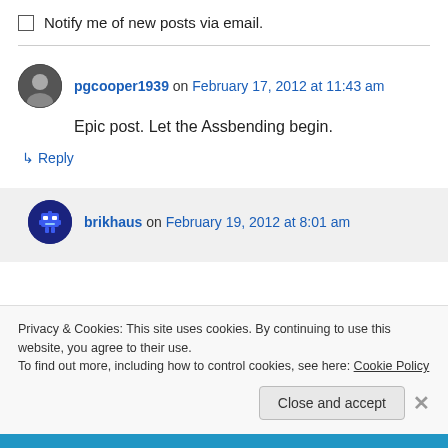Notify me of new posts via email.
pgcooper1939 on February 17, 2012 at 11:43 am
Epic post. Let the Assbending begin.
↳ Reply
brikhaus on February 19, 2012 at 8:01 am
Privacy & Cookies: This site uses cookies. By continuing to use this website, you agree to their use. To find out more, including how to control cookies, see here: Cookie Policy
Close and accept